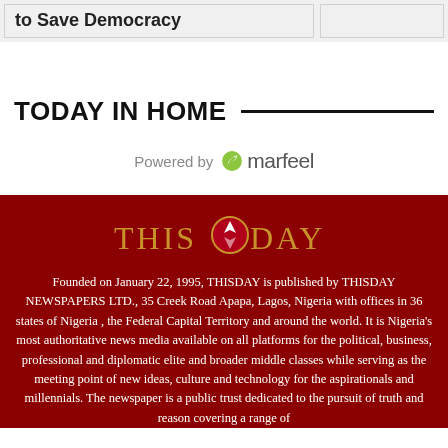to Save Democracy
TODAY IN HOME
[Figure (logo): Powered by marfeel logo]
[Figure (logo): ThisDay newspaper logo]
Founded on January 22, 1995, THISDAY is published by THISDAY NEWSPAPERS LTD., 35 Creek Road Apapa, Lagos, Nigeria with offices in 36 states of Nigeria , the Federal Capital Territory and around the world. It is Nigeria's most authoritative news media available on all platforms for the political, business, professional and diplomatic elite and broader middle classes while serving as the meeting point of new ideas, culture and technology for the aspirationals and millennials. The newspaper is a public trust dedicated to the pursuit of truth and reason covering a range of